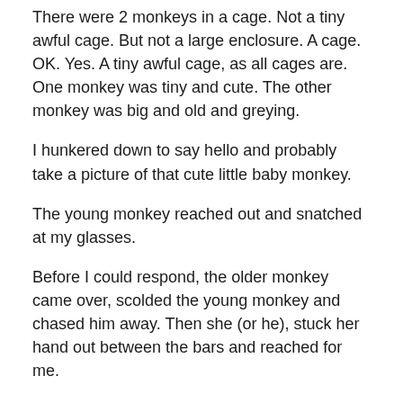There were 2 monkeys in a cage. Not a tiny awful cage. But not a large enclosure. A cage. OK. Yes. A tiny awful cage, as all cages are. One monkey was tiny and cute. The other monkey was big and old and greying.
I hunkered down to say hello and probably take a picture of that cute little baby monkey.
The young monkey reached out and snatched at my glasses.
Before I could respond, the older monkey came over, scolded the young monkey and chased him away. Then she (or he), stuck her hand out between the bars and reached for me.
I thought she was looking for food, but she wasn't.
She just seemed to want my hand.